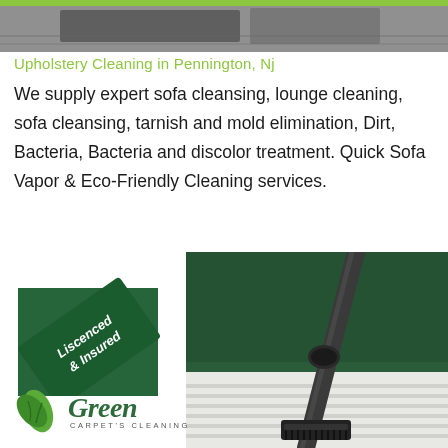[Figure (photo): Top portion showing gray/dark textured surface with green accent bar at top]
Upholstery Cleaning in Pennington, Nj
We supply expert sofa cleansing, lounge cleaning, sofa cleansing, tarnish and mold elimination, Dirt, Bacteria, Bacteria and discolor treatment. Quick Sofa Vapor & Eco-Friendly Cleaning services.
[Figure (illustration): Green diagonal badge with white text reading 'Liscenced & Insured']
[Figure (photo): Close-up photo of a vacuum cleaner attachment/hose against green upholstery and white striped surface]
[Figure (logo): Green Carpet's Cleaning logo with green leaf icon and stylized 'Green' text]